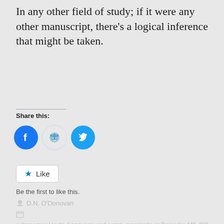In any other field of study; if it were any other manuscript, there's a logical inference that might be taken.
Share this:
[Figure (infographic): Social sharing icons: Facebook (blue circle with f logo), Reddit (light blue circle with Reddit alien logo), Twitter (blue circle with bird logo)]
Like
Be the first to like this.
D.N. O'Donovan
astronomical texts, Language and script, marginalia in Beinecke MS 408, palaeography, Provenancing, Voynich categories
29 Comments   February 25, 2019   13 Minutes